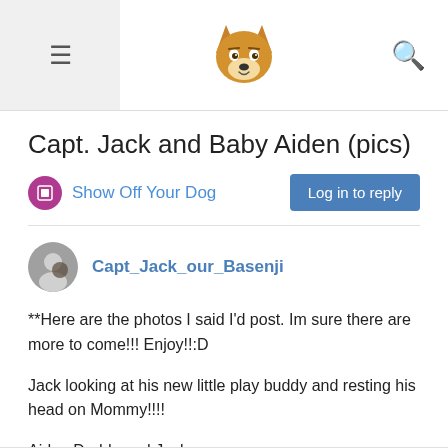Navigation header with hamburger menu, dog logo, and search icon
Capt. Jack and Baby Aiden (pics)
Show Off Your Dog
Log in to reply
Capt_Jack_our_Basenji
**Here are the photos I said I'd post. Im sure there are more to come!!! Enjoy!!:D

Jack looking at his new little play buddy and resting his head on Mommy!!!!

Aiden Daddy and Jackers

The sniff sniff and a cuddle!!!**